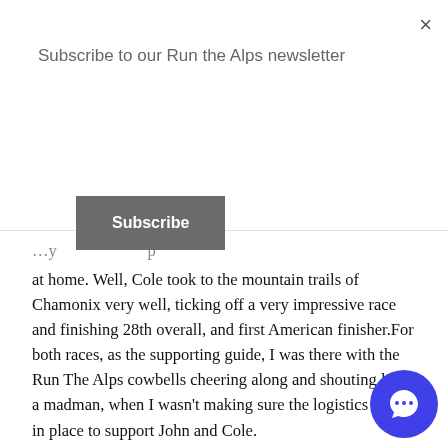Subscribe to our Run the Alps newsletter
Subscribe
at home. Well, Cole took to the mountain trails of Chamonix very well, ticking off a very impressive race and finishing 28th overall, and first American finisher. For both races, as the supporting guide, I was there with the Run The Alps cowbells cheering along and shouting like a madman, when I wasn't making sure the logistics were in place to support John and Cole.
This tour really did highlight for me why I do the work I do, and why I love being part of the Run The Alps family. With new friendships formed, great trails run, races completed and fantastic local dishes consumed, it really hit home once again why the Alps are the Mecca of Trail running across the world.